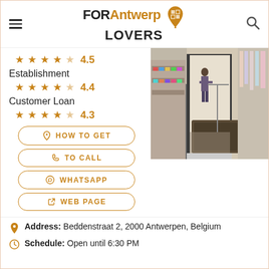FOR Antwerp LOVERS
★★★★☆ 4.5
Establishment
★★★★☆ 4.4
Customer Loan
★★★★☆ 4.3
[Figure (photo): Interior of a retail shop with merchandise on shelves and racks, entrance visible]
HOW TO GET
TO CALL
WHATSAPP
WEB PAGE
Address: Beddenstraat 2, 2000 Antwerpen, Belgium
Schedule: Open until 6:30 PM